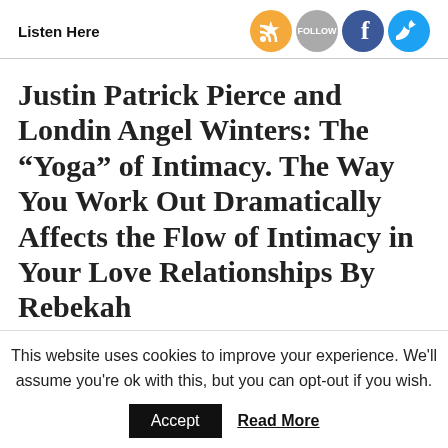Listen Here
[Figure (illustration): Social media icons: RSS (orange), Follow (grey), Facebook (blue), Twitter (blue)]
Justin Patrick Pierce and Londin Angel Winters: The “Yoga” of Intimacy. The Way You Work Out Dramatically Affects the Flow of Intimacy in Your Love Relationships By Rebekah
This website uses cookies to improve your experience. We'll assume you're ok with this, but you can opt-out if you wish.
Accept
Read More